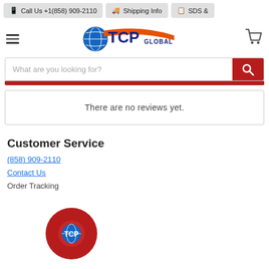Call Us +1(858) 909-2110  |  Shipping Info  |  SDS &
[Figure (logo): TCP Global logo with globe icon, orange swoosh, blue TCP text and GLOBAL subtitle]
What are you looking for?
There are no reviews yet.
Customer Service
(858) 909-2110
Contact Us
Order Tracking
[Figure (logo): TCP Global circular red badge with TCP logo in center]